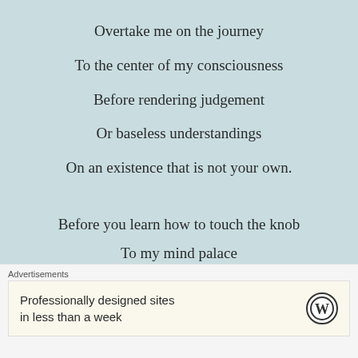Overtake me on the journey
To the center of my consciousness
Before rendering judgement
Or baseless understandings
On an existence that is not your own.
Before you learn how to touch the knob
To my mind palace
Advertisements
Professionally designed sites in less than a week